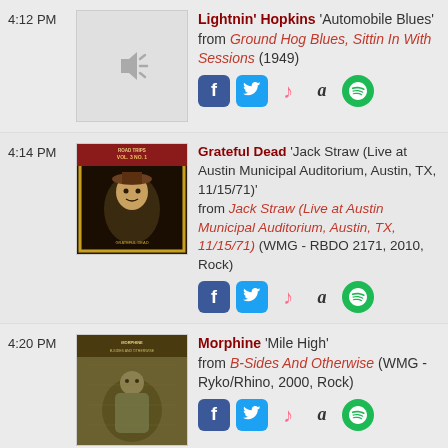4:12 PM — Lightnin' Hopkins 'Automobile Blues' from Ground Hog Blues, Sittin In With Sessions (1949)
4:14 PM — Grateful Dead 'Jack Straw (Live at Austin Municipal Auditorium, Austin, TX, 11/15/71)' from Jack Straw (Live at Austin Municipal Auditorium, Austin, TX, 11/15/71) (WMG - RBDO 2171, 2010, Rock)
4:20 PM — Morphine 'Mile High' from B-Sides And Otherwise (WMG - Ryko/Rhino, 2000, Rock)